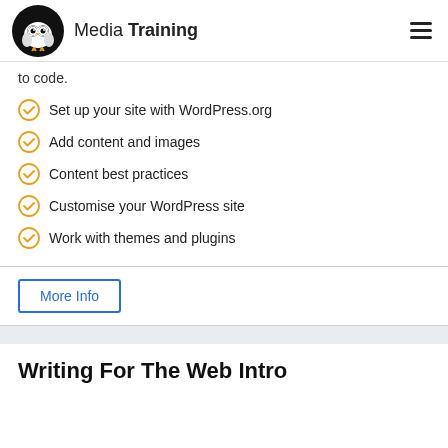Media Training
to code.
Set up your site with WordPress.org
Add content and images
Content best practices
Customise your WordPress site
Work with themes and plugins
More Info
Writing For The Web Intro